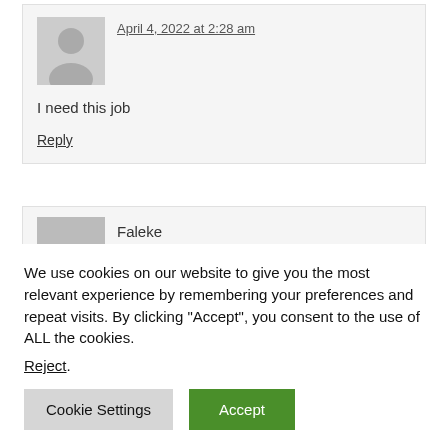April 4, 2022 at 2:28 am
I need this job
Reply
Faleke
We use cookies on our website to give you the most relevant experience by remembering your preferences and repeat visits. By clicking “Accept”, you consent to the use of ALL the cookies.
Reject.
Cookie Settings
Accept